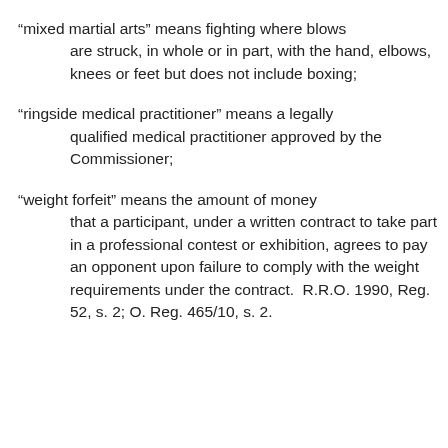“mixed martial arts” means fighting where blows are struck, in whole or in part, with the hand, elbows, knees or feet but does not include boxing;
“ringside medical practitioner” means a legally qualified medical practitioner approved by the Commissioner;
“weight forfeit” means the amount of money that a participant, under a written contract to take part in a professional contest or exhibition, agrees to pay an opponent upon failure to comply with the weight requirements under the contract.  R.R.O. 1990, Reg. 52, s. 2; O. Reg. 465/10, s. 2.